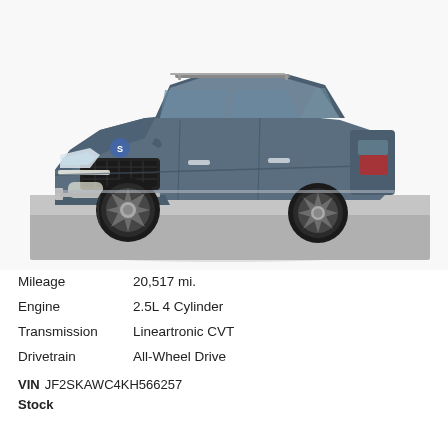[Figure (photo): Three-quarter front view of a gray Subaru Forester SUV on a studio/showroom floor with gray background]
Mileage   20,517 mi.
Engine   2.5L 4 Cylinder
Transmission   Lineartronic CVT
Drivetrain   All-Wheel Drive
VIN JF2SKAWC4KH566257
Stock